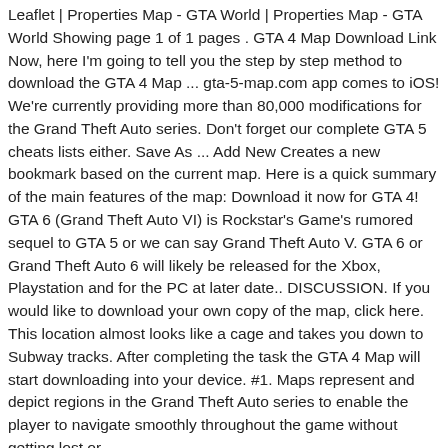Leaflet | Properties Map - GTA World | Properties Map - GTA World Showing page 1 of 1 pages . GTA 4 Map Download Link Now, here I'm going to tell you the step by step method to download the GTA 4 Map ... gta-5-map.com app comes to iOS! We're currently providing more than 80,000 modifications for the Grand Theft Auto series. Don't forget our complete GTA 5 cheats lists either. Save As ... Add New Creates a new bookmark based on the current map. Here is a quick summary of the main features of the map: Download it now for GTA 4! GTA 6 (Grand Theft Auto VI) is Rockstar's Game's rumored sequel to GTA 5 or we can say Grand Theft Auto V. GTA 6 or Grand Theft Auto 6 will likely be released for the Xbox, Playstation and for the PC at later date.. DISCUSSION. If you would like to download your own copy of the map, click here. This location almost looks like a cage and takes you down to Subway tracks. After completing the task the GTA 4 Map will start downloading into your device. #1. Maps represent and depict regions in the Grand Theft Auto series to enable the player to navigate smoothly throughout the game without getting lost or